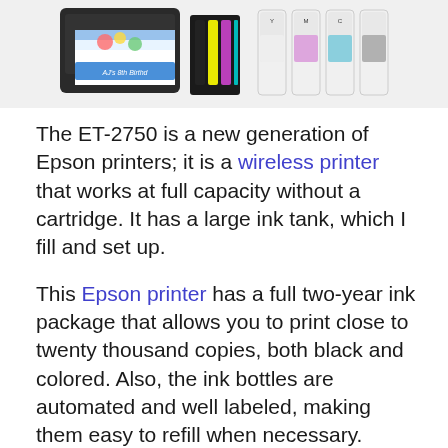[Figure (photo): Photo of Epson ET-2750 printer with colorful printed output showing birthday design, ink cartridge slots with colored inks, and ink bottles]
The ET-2750 is a new generation of Epson printers; it is a wireless printer that works at full capacity without a cartridge. It has a large ink tank, which I fill and set up.
This Epson printer has a full two-year ink package that allows you to print close to twenty thousand copies, both black and colored. Also, the ink bottles are automated and well labeled, making them easy to refill when necessary.
Features and Benefits